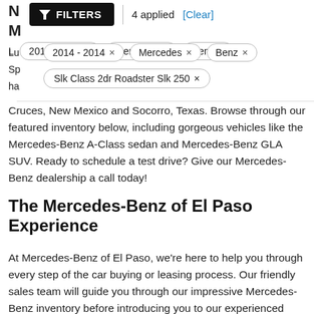N M
FILTERS | 4 applied [Clear]
2014 - 2014 × | Mercedes × | Benz × | Slk Class 2dr Roadster Slk 250 ×
Cruces, New Mexico and Socorro, Texas. Browse through our featured inventory below, including gorgeous vehicles like the Mercedes-Benz A-Class sedan and Mercedes-Benz GLA SUV. Ready to schedule a test drive? Give our Mercedes-Benz dealership a call today!
The Mercedes-Benz of El Paso Experience
At Mercedes-Benz of El Paso, we're here to help you through every step of the car buying or leasing process. Our friendly sales team will guide you through our impressive Mercedes-Benz inventory before introducing you to our experienced finance